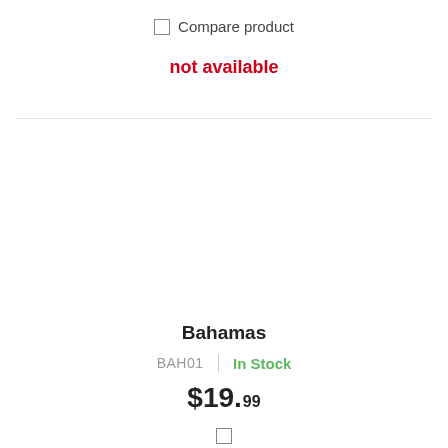Compare product
not available
Bahamas
BAH01 | In Stock
$19.99